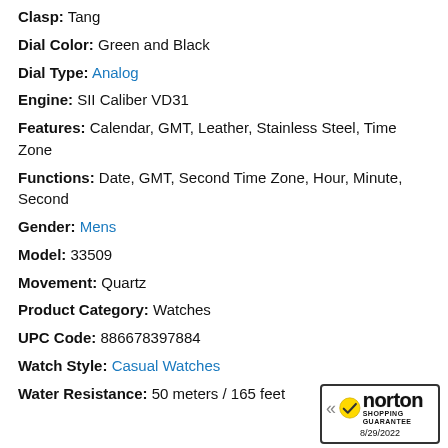Clasp: Tang
Dial Color: Green and Black
Dial Type: Analog
Engine: SII Caliber VD31
Features: Calendar, GMT, Leather, Stainless Steel, Time Zone
Functions: Date, GMT, Second Time Zone, Hour, Minute, Second
Gender: Mens
Model: 33509
Movement: Quartz
Product Category: Watches
UPC Code: 886678397884
Watch Style: Casual Watches
Water Resistance: 50 meters / 165 feet
[Figure (logo): Norton Shopping Guarantee badge dated 8/29/2022]